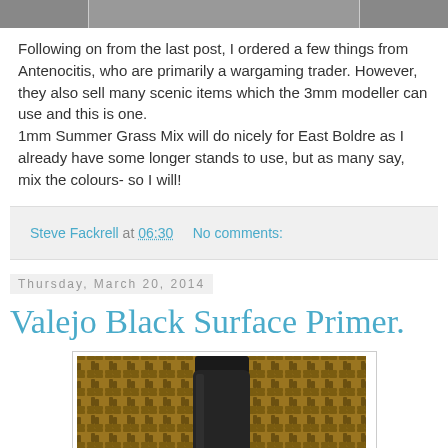[Figure (photo): Top portion of a product image, cropped at the top of the page]
Following on from the last post, I ordered a few things from Antenocitis, who are primarily a wargaming trader. However, they also sell many scenic items which the 3mm modeller can use and this is one. 1mm Summer Grass Mix will do nicely for East Boldre as I already have some longer stands to use, but as many say, mix the colours- so I will!
Steve Fackrell at 06:30    No comments:
Thursday, March 20, 2014
Valejo Black Surface Primer.
[Figure (photo): Photo of a Valejo Black Surface Primer bottle against a wicker/woven background, showing the bottom portion of the bottle with label reading ACRYLIC-POLYURETHANE SURFACE]